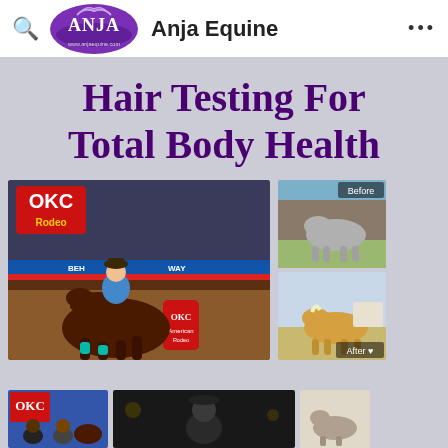Anja Equine
Hair Testing For Total Body Health
[Figure (photo): Barrel racer on brown horse at OKC arena rodeo event]
[Figure (photo): Before photo of a grey horse standing in a field]
[Figure (photo): After photo of a palomino horse standing, labeled 'After']
[Figure (photo): Bottom left thumbnail photo of people with horses at OKC event]
[Figure (photo): Bottom center thumbnail dark photo]
[Figure (photo): Bottom right thumbnail light photo]